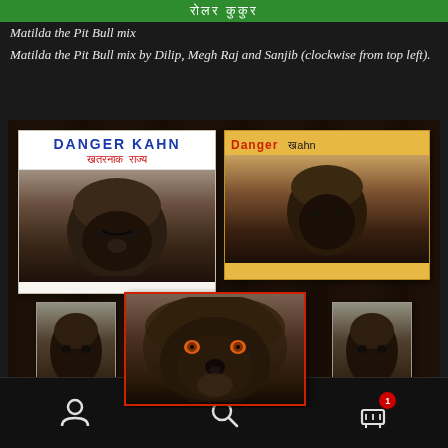[Figure (illustration): Green banner at top with text in Hindi/Devanagari script (रोलर कुकुर or similar)]
Matilda the Pit Bull mix
Matilda the Pit Bull mix by Dilip, Megh Raj and Sanjib (clockwise from top left).
[Figure (photo): Photograph of multiple folk art paintings of a dog (Chow Chow type) on a dark wooden surface. Top left painting shows 'DANGER KAHN' in blue text with Hindi text 'खतरनाक राज्य' in red, with a dark fluffy dog portrait on white background. Top right painting shows 'DANGER KAHN' on yellow background. Bottom center shows a large close-up dog portrait with orange eyes. Two smaller dog portrait paintings flank the center bottom.]
Navigation bar with person icon, search icon, and cart icon with badge '1'